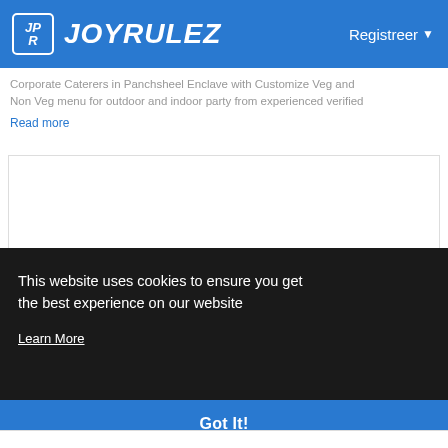JOYRULEZ  Registreer
Corporate Caterers in Panchsheel Enclave with Customize Veg and Non Veg menu for outdoor and indoor party from experienced verified
Read more
[Figure (photo): White image area with a small dark reddish shape at the bottom center]
This website uses cookies to ensure you get the best experience on our website
Learn More
Got It!